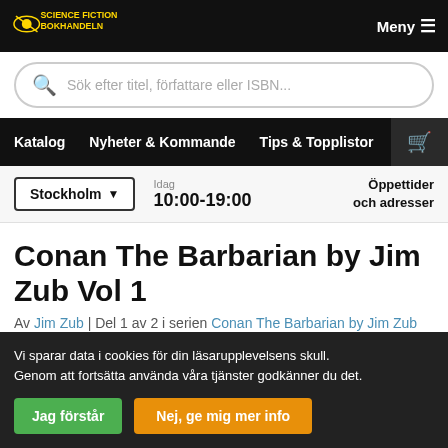Science Fiction Bokhandeln — Meny
Sök efter titel, författare eller ISBN...
Katalog   Nyheter & Kommande   Tips & Topplistor
Stockholm  Idag 10:00-19:00  Öppettider och adresser
Conan The Barbarian by Jim Zub Vol 1
Av Jim Zub | Del 1 av 2 i serien Conan The Barbarian by Jim Zub
Vi sparar data i cookies för din läsarupplevelsens skull. Genom att fortsätta använda våra tjänster godkänner du det.
Jag förstår   Nej, ge mig mer info